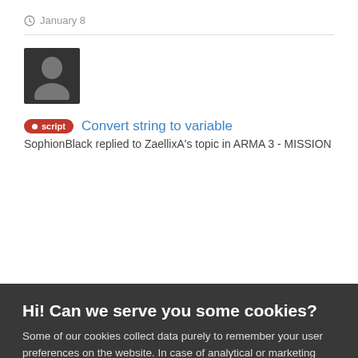January 8
[Figure (photo): User avatar placeholder — dark silhouette on dark background]
script  Convert string to variable
SophionBlack replied to ZaellixA's topic in ARMA 3 - MISSION
Hi! Can we serve you some cookies?
Some of our cookies collect data purely to remember your user preferences on the website. In case of analytical or marketing cookies, we always collect as little data as possible to make sure we keep our marketing well targeted - which often results in you not being spammed by any of our ads at all. We're also never looking at data about you in particular, everything at Bohemia is analyzed in an aggregated form. Learn more
Allow all cookies
I want more options